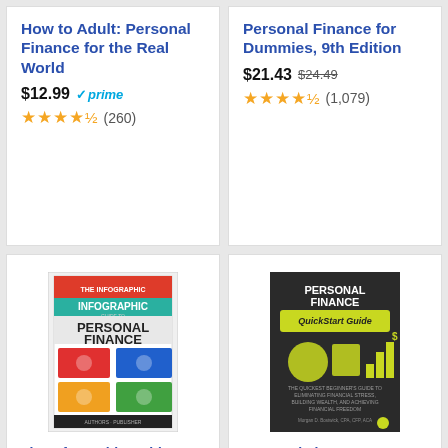How to Adult: Personal Finance for the Real World
$12.99 ✓prime
★★★★½ (260)
Personal Finance for Dummies, 9th Edition
$21.43 $24.49
★★★★½ (1,079)
[Figure (photo): Book cover: The Infographic Guide to Personal Finance: A Visual]
The Infographic Guide to Personal Finance: A Visual
$12.99 $16.99 ✓prime
★★★★½ (890)
[Figure (photo): Book cover: Personal Finance QuickStart Guide: The Simplified]
Personal Finance QuickStart Guide: The Simplified
$9.99
★★★★½ (621)
Ads by Amazon
Taxes